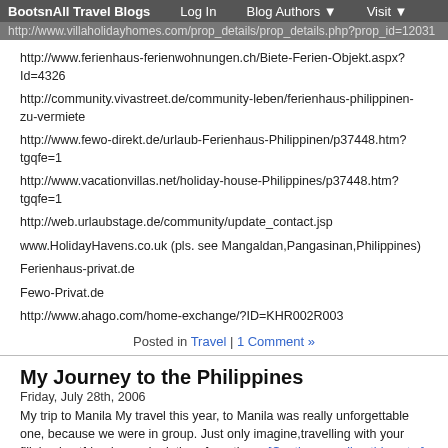BootsnAll Travel Blogs   Log In   Blog Authors   Visit
http://www.villaholidayhomes.com/prop_details/prop_details.php?prop_id=12031
http://www.ferienhaus-ferienwohnungen.ch/Biete-Ferien-Objekt.aspx?Id=4326
http://community.vivastreet.de/community-leben/ferienhaus-philippinen-zu-vermiete
http://www.fewo-direkt.de/urlaub-Ferienhaus-Philippinen/p37448.htm?tgqfe=1
http://www.vacationvillas.net/holiday-house-Philippines/p37448.htm?tgqfe=1
http://web.urlaubstage.de/community/update_contact.jsp
www.HolidayHavens.co.uk (pls. see Mangaldan,Pangasinan,Philippines)
Ferienhaus-privat.de
Fewo-Privat.de
http://www.ahago.com/home-exchange/?ID=KHR002R003
Posted in Travel | 1 Comment »
My Journey to the Philippines
Friday, July 28th, 2006
My trip to Manila My travel this year, to Manila was really unforgettable one, because we were in group. Just only imagine,travelling with your filipina bestfriends , and relatives from the ... [Continue reading this entry]
Posted in Travel | 1 Comment »